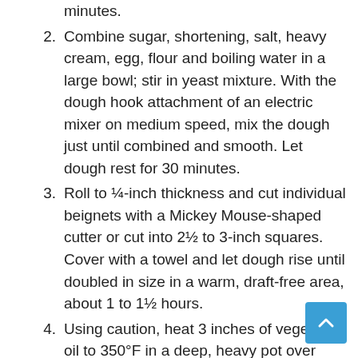minutes.
2. Combine sugar, shortening, salt, heavy cream, egg, flour and boiling water in a large bowl; stir in yeast mixture. With the dough hook attachment of an electric mixer on medium speed, mix the dough just until combined and smooth. Let dough rest for 30 minutes.
3. Roll to ¼-inch thickness and cut individual beignets with a Mickey Mouse-shaped cutter or cut into 2½ to 3-inch squares. Cover with a towel and let dough rise until doubled in size in a warm, draft-free area, about 1 to 1½ hours.
4. Using caution, heat 3 inches of vegetable oil to 350°F in a deep, heavy pot over medium-high heat. Fry beignets until